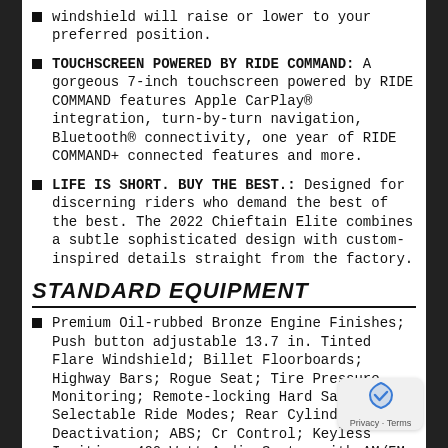windshield will raise or lower to your preferred position.
TOUCHSCREEN POWERED BY RIDE COMMAND: A gorgeous 7-inch touchscreen powered by RIDE COMMAND features Apple CarPlay® integration, turn-by-turn navigation, Bluetooth® connectivity, one year of RIDE COMMAND+ connected features and more.
LIFE IS SHORT. BUY THE BEST.: Designed for discerning riders who demand the best of the best. The 2022 Chieftain Elite combines a subtle sophisticated design with custom-inspired details straight from the factory.
STANDARD EQUIPMENT
Premium Oil-rubbed Bronze Engine Finishes; Push button adjustable 13.7 in. Tinted Flare Windshield; Billet Floorboards; Highway Bars; Rogue Seat; Tire Pressure Monitoring; Remote-locking Hard Saddlebags; Selectable Ride Modes; Rear Cylinder Deactivation; ABS; Cr Control; Keyless Ignition; 400 Watt Audio System with AM/FM, Bluetooth®, USB, and